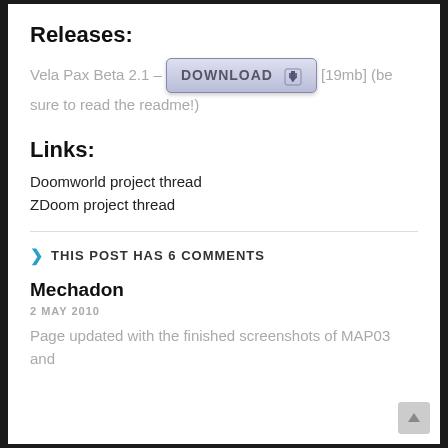Releases:
Vela Pax Beta 2.1 – DOWNLOAD [19mb] (be sure to read the readme!)
Links:
Doomworld project thread
ZDoom project thread
THIS POST HAS 6 COMMENTS
Mechadon
2 MAY 2010
Page updated with the finished screenshots of MAP03 and